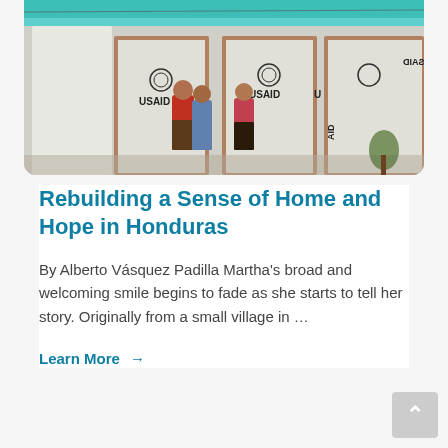[Figure (photo): Outdoor photo showing several people standing near temporary structures with USAID branding/logos on the walls, in Honduras. A teal/blue roof edge is visible at the top.]
Rebuilding a Sense of Home and Hope in Honduras
By Alberto Vásquez Padilla Martha's broad and welcoming smile begins to fade as she starts to tell her story. Originally from a small village in …
Learn More →